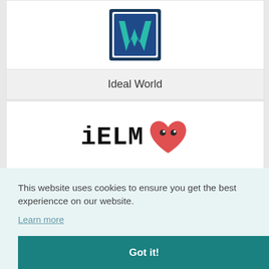[Figure (logo): Ideal World logo - blue square with teal W shape inside, white border]
Ideal World
[Figure (logo): iELM logo with heart emoji character]
This website uses cookies to ensure you get the best experiencce on our website.
Learn more
Got it!
[Figure (logo): Partially visible logo text at bottom of page]